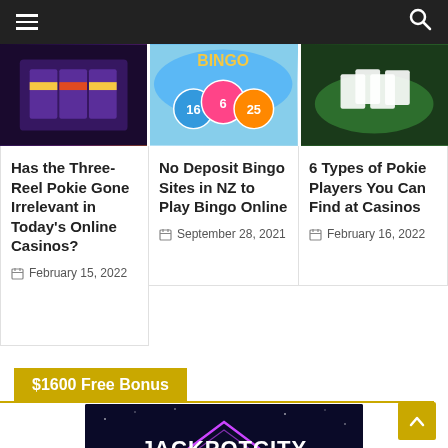Navigation bar with hamburger menu and search icon
[Figure (screenshot): Three card thumbnails showing casino game images: slot machine, bingo balls on sky, card game table]
Has the Three-Reel Pokie Gone Irrelevant in Today's Online Casinos?
February 15, 2022
No Deposit Bingo Sites in NZ to Play Bingo Online
September 28, 2021
6 Types of Pokie Players You Can Find at Casinos
February 16, 2022
$1600 Free Bonus
[Figure (logo): JackpotCity Casino logo on dark background with purple diamond outline]